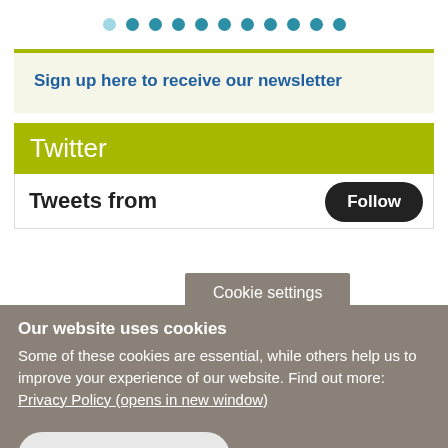[Figure (other): Row of teal dots used as a pagination or section indicator]
Sign up here to receive our newsletter
Twitter
Tweets from
Cookie settings
Our website uses cookies
Some of these cookies are essential, while others help us to improve your experience of our website. Find out more: Privacy Policy (opens in new window)
Accept all cookies
Manage cookies